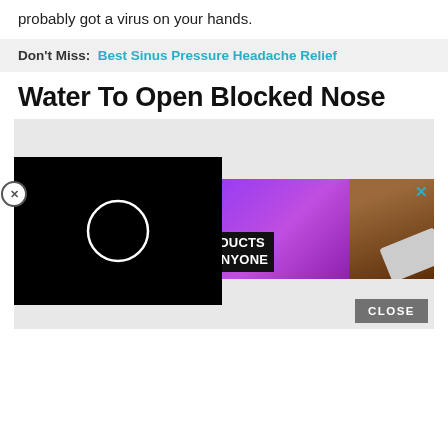probably got a virus on your hands.
Don't Miss:  Best Sinus Pressure Headache Relief
Water To Open Blocked Nose
[Figure (screenshot): Media area with a black video player overlay showing a loading circle, and an advertisement panel showing '22 AMAZON PRODUCTS USED BY ANYONE' with purple/wood background and a close button (X). A circular close button (⊗) is on the left. A grey CLOSE button is at the bottom right.]